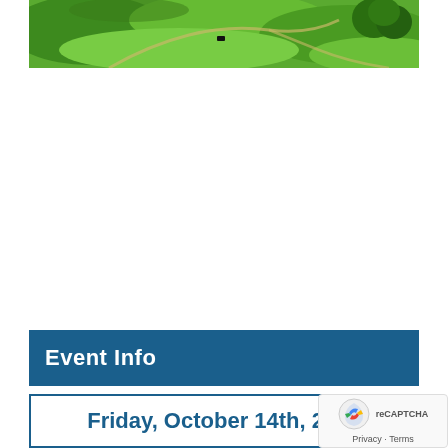[Figure (photo): Aerial view of green farmland with winding paths and trees]
Event Info
Friday, October 14th, 2022